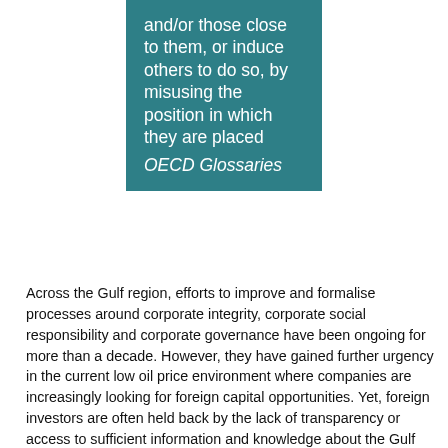[Figure (other): Teal/dark cyan colored quote box containing the text: 'and/or those close to them, or induce others to do so, by misusing the position in which they are placed' followed by italic 'OECD Glossaries']
Across the Gulf region, efforts to improve and formalise processes around corporate integrity, corporate social responsibility and corporate governance have been ongoing for more than a decade. However, they have gained further urgency in the current low oil price environment where companies are increasingly looking for foreign capital opportunities. Yet, foreign investors are often held back by the lack of transparency or access to sufficient information and knowledge about the Gulf corporate sector as a potential partner, client or supplier. The